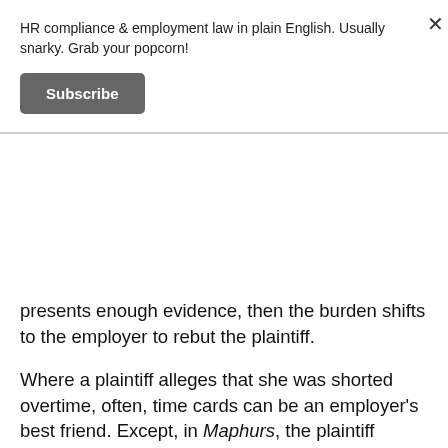HR compliance & employment law in plain English. Usually snarky. Grab your popcorn!
Subscribe
presents enough evidence, then the burden shifts to the employer to rebut the plaintiff.
Where a plaintiff alleges that she was shorted overtime, often, time cards can be an employer’s best friend. Except, in Maphurs, the plaintiff testified that she was told by her supervisor not to record her overtime. For example, her supervisor allegedly instructed her to clock out when she worked through lunch. Facts like these enable a plaintiff, like Malphurs, to get past summary judgment and